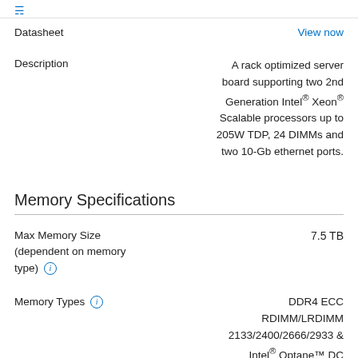View now (link at top)
Datasheet | View now
Description | A rack optimized server board supporting two 2nd Generation Intel® Xeon® Scalable processors up to 205W TDP, 24 DIMMs and two 10-Gb ethernet ports.
Memory Specifications
Max Memory Size (dependent on memory type) | 7.5 TB
Memory Types | DDR4 ECC RDIMM/LRDIMM 2133/2400/2666/2933 & Intel® Optane™ DC Persistent Memory Supported